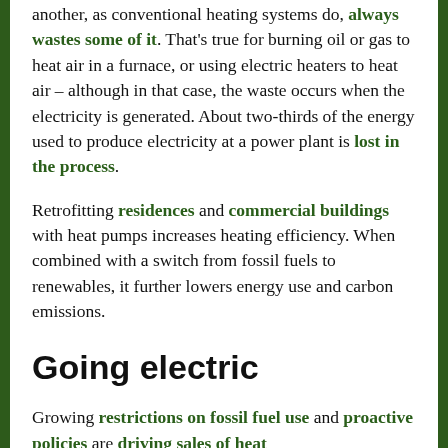another, as conventional heating systems do, always wastes some of it. That's true for burning oil or gas to heat air in a furnace, or using electric heaters to heat air – although in that case, the waste occurs when the electricity is generated. About two-thirds of the energy used to produce electricity at a power plant is lost in the process.
Retrofitting residences and commercial buildings with heat pumps increases heating efficiency. When combined with a switch from fossil fuels to renewables, it further lowers energy use and carbon emissions.
Going electric
Growing restrictions on fossil fuel use and proactive policies are driving sales of heat pumps in the U.S. and internationally. Heat